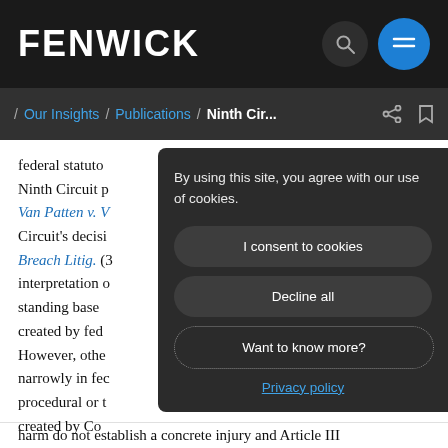FENWICK
/ Our Insights / Publications / Ninth Cir...
federal statuto Ninth Circuit p Van Patten v. W Circuit's decisi Breach Litig. (3 interpretation o standing base created by fed However, othe narrowly in fec procedural or t created by Co harm do not establish a concrete injury and Article III
By using this site, you agree with our use of cookies.
I consent to cookies
Decline all
Want to know more?
Privacy policy